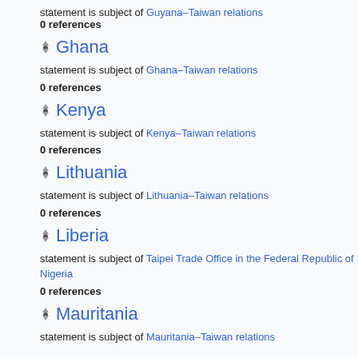statement is subject of Guyana–Taiwan relations
0 references
Ghana
statement is subject of Ghana–Taiwan relations
0 references
Kenya
statement is subject of Kenya–Taiwan relations
0 references
Lithuania
statement is subject of Lithuania–Taiwan relations
0 references
Liberia
statement is subject of Taipei Trade Office in the Federal Republic of Nigeria
0 references
Mauritania
statement is subject of Mauritania–Taiwan relations